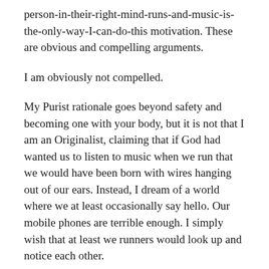person-in-their-right-mind-runs-and-music-is-the-only-way-I-can-do-this motivation. These are obvious and compelling arguments.
I am obviously not compelled.
My Purist rationale goes beyond safety and becoming one with your body, but it is not that I am an Originalist, claiming that if God had wanted us to listen to music when we run that we would have been born with wires hanging out of our ears. Instead, I dream of a world where we at least occasionally say hello. Our mobile phones are terrible enough. I simply wish that at least we runners would look up and notice each other.
Once, I was running in Santa Monica and met a young woman rounding the corner running in